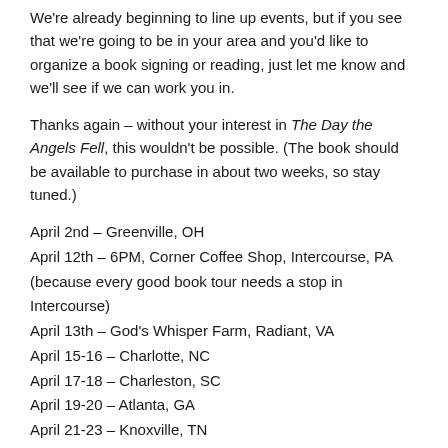We're already beginning to line up events, but if you see that we're going to be in your area and you'd like to organize a book signing or reading, just let me know and we'll see if we can work you in.
Thanks again – without your interest in The Day the Angels Fell, this wouldn't be possible. (The book should be available to purchase in about two weeks, so stay tuned.)
April 2nd – Greenville, OH
April 12th – 6PM, Corner Coffee Shop, Intercourse, PA (because every good book tour needs a stop in Intercourse)
April 13th – God's Whisper Farm, Radiant, VA
April 15-16 – Charlotte, NC
April 17-18 – Charleston, SC
April 19-20 – Atlanta, GA
April 21-23 – Knoxville, TN